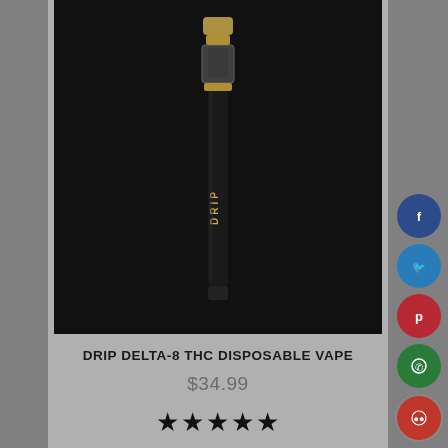[Figure (photo): Product photo of a black DRIP branded Delta-8 THC disposable vape pen on a dark background]
DRIP DELTA-8 THC DISPOSABLE VAPE
$34.99
★★★★★
SELECT OPTIONS